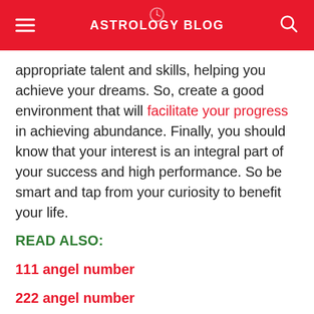ASTROLOGY BLOG
appropriate talent and skills, helping you achieve your dreams. So, create a good environment that will facilitate your progress in achieving abundance. Finally, you should know that your interest is an integral part of your success and high performance. So be smart and tap from your curiosity to benefit your life.
READ ALSO:
111 angel number
222 angel number